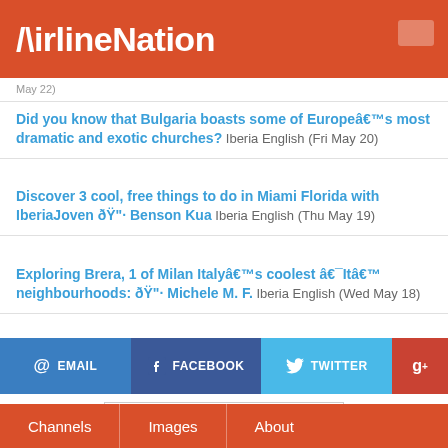AirlineNation
May 22)
Did you know that Bulgaria boasts some of Europeâ€™s most dramatic and exotic churches? Iberia English (Fri May 20)
Discover 3 cool, free things to do in Miami Florida with IberiaJoven ðŸ”· Benson Kua Iberia English (Thu May 19)
Exploring Brera, 1 of Milan Italyâ€™s coolest â€¯Itâ€™ neighbourhoods: ðŸ”· Michele M. F. Iberia English (Wed May 18)
[Figure (other): Social sharing buttons: EMAIL, FACEBOOK, TWITTER, G+]
| 🇺🇸 US | 3651 | 🇨🇳 CN | 2782 |
| 🇩🇪 DE | 541 | 🇧🇷 BR | 419 |
| 🇷🇺 RU | 386 | 🇨🇦 CA | 336 |
Channels  Images  About